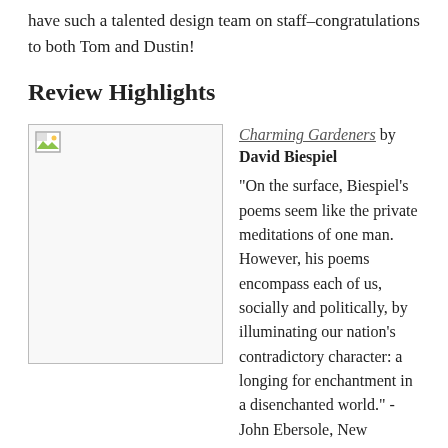have such a talented design team on staff–congratulations to both Tom and Dustin!
Review Highlights
[Figure (illustration): Book cover image placeholder with broken image icon (small landscape icon in top-left corner of a white bordered rectangle)]
Charming Gardeners by David Biespiel

"On the surface, Biespiel's poems seem like the private meditations of one man. However, his poems encompass each of us, socially and politically, by illuminating our nation's contradictory character: a longing for enchantment in a disenchanted world." -John Ebersole, New Books in Poetry. Listen to the full New Books interview with